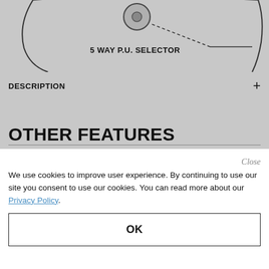[Figure (schematic): Partial view of a guitar body diagram showing a '5 WAY P.U. SELECTOR' label with an arrow pointing to a component on the guitar schematic. The diagram shows curved body lines and a circular selector switch component.]
DESCRIPTION
OTHER FEATURES
We use cookies to improve user experience. By continuing to use our site you consent to use our cookies. You can read more about our Privacy Policy.
OK